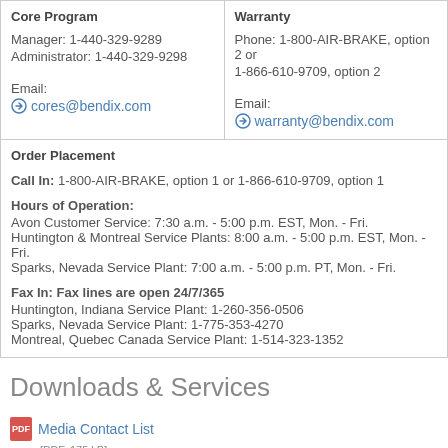| Core Program | Warranty |
| --- | --- |
| Manager: 1-440-329-9289
Administrator: 1-440-329-9298

Email:
cores@bendix.com | Phone: 1-800-AIR-BRAKE, option 2 or
1-866-610-9709, option 2

Email:
warranty@bendix.com |
Order Placement
Call In: 1-800-AIR-BRAKE, option 1 or 1-866-610-9709, option 1
Hours of Operation:
Avon Customer Service: 7:30 a.m. - 5:00 p.m. EST, Mon. - Fri.
Huntington & Montreal Service Plants: 8:00 a.m. - 5:00 p.m. EST, Mon. - Fri.
Sparks, Nevada Service Plant: 7:00 a.m. - 5:00 p.m. PT, Mon. - Fri.
Fax In: Fax lines are open 24/7/365
Huntington, Indiana Service Plant: 1-260-356-0506
Sparks, Nevada Service Plant: 1-775-353-4270
Montreal, Quebec Canada Service Plant: 1-514-323-1352
Downloads & Services
Media Contact List
[PDF, 175 kB]